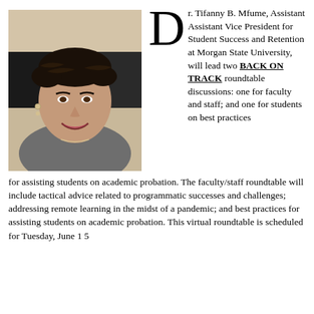[Figure (photo): Portrait photo of Dr. Tifanny B. Mfume, a woman with braided hair, smiling, wearing a grey jacket and earrings.]
Dr. Tifanny B. Mfume, Assistant Assistant Vice President for Student Success and Retention at Morgan State University, will lead two BACK ON TRACK roundtable discussions: one for faculty and staff; and one for students on best practices for assisting students on academic probation. The faculty/staff roundtable will include tactical advice related to programmatic successes and challenges; addressing remote learning in the midst of a pandemic; and best practices for assisting students on academic probation. This virtual roundtable is scheduled for Tuesday, June 15